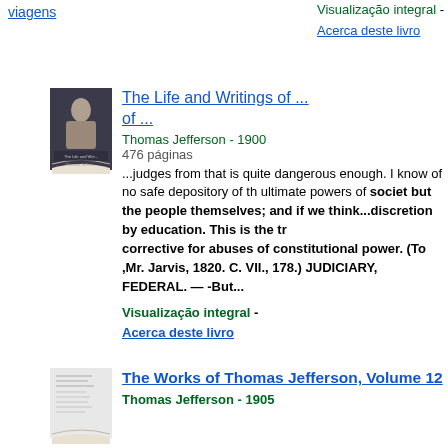viagens
Visualização integral - Acerca deste livro
The Life and Writings of ...
Thomas Jefferson - 1900
476 páginas
...judges from that is quite dangerous enough. I know of no safe depository of the ultimate powers of society but the people themselves; and if we think...discretion by education. This is the true corrective for abuses of constitutional power. (To ,Mr. Jarvis, 1820. C. VII., 178.) JUDICIARY, FEDERAL. — -But...
Visualização integral - Acerca deste livro
The Works of Thomas Jefferson, Volume 12
Thomas Jefferson - 1905